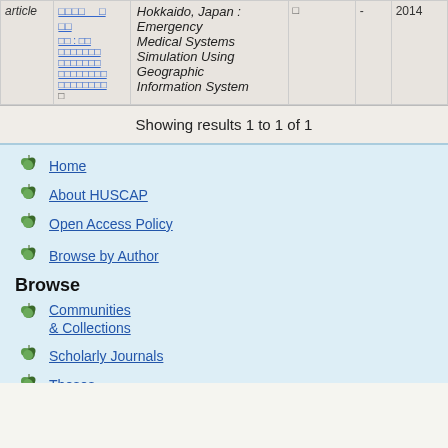| Type | Author | Title | Journal | Vol | Date |
| --- | --- | --- | --- | --- | --- |
| article | ［japanese text］ | ［japanese text］: ［japanese text］
［japanese text］
［japanese text］
［japanese text］
［japanese text］
□ | Hokkaido, Japan : Emergency Medical Systems Simulation Using Geographic Information System | □ | - | 2014 |
Showing results 1 to 1 of 1
Home
About HUSCAP
Open Access Policy
Browse by Author
Browse
Communities & Collections
Scholarly Journals
Theses